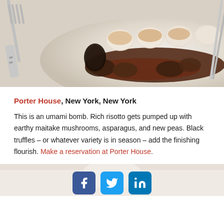[Figure (photo): Close-up food photo of scallops or dumplings with dark mushroom sauce and truffle on a white plate, with silver fork visible on the left]
Porter House, New York, New York
This is an umami bomb. Rich risotto gets pumped up with earthy maitake mushrooms, asparagus, and new peas. Black truffles – or whatever variety is in season – add the finishing flourish. Make a reservation at Porter House.
[Figure (photo): Partial photo of another food dish at bottom of page, with Facebook, Twitter, and LinkedIn social share icons overlaid]
[Figure (infographic): Social media share buttons: Facebook (blue), Twitter (light blue), LinkedIn (dark blue)]